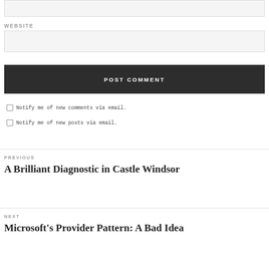WEBSITE
POST COMMENT
Notify me of new comments via email.
Notify me of new posts via email.
PREVIOUS
A Brilliant Diagnostic in Castle Windsor
NEXT
Microsoft's Provider Pattern: A Bad Idea